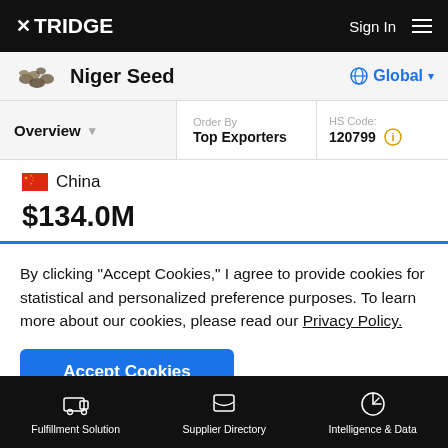TRIDGE | Sign In
Niger Seed
Overview | Order By: Top Exporters | HS Code: 120799
China $134.0M
By clicking "Accept Cookies," I agree to provide cookies for statistical and personalized preference purposes. To learn more about our cookies, please read our Privacy Policy.
Accept Cookies
Fulfillment Solution | Supplier Directory | Intelligence & Data